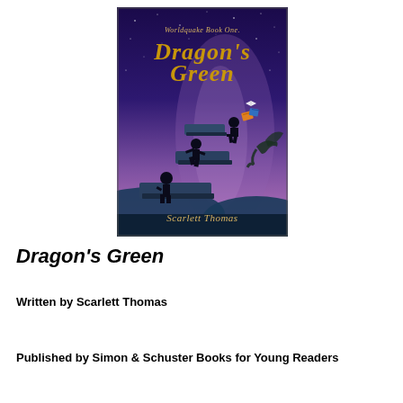[Figure (illustration): Book cover of Dragon's Green (Worldquake Book One) by Scarlett Thomas. Features a fantasy night sky with purple and blue hues, children silhouettes on floating stone platforms, flying books, and a dragon. The title 'Dragon's Green' is written in ornate gold letters at the top, with 'Worldquake Book One.' above it and 'Scarlett Thomas' at the bottom in gold text.]
Dragon's Green
Written by Scarlett Thomas
Published by Simon & Schuster Books for Young Readers